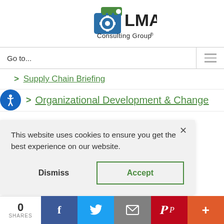[Figure (logo): LMA Consulting Group logo with green and blue gear icon]
Go to...
> Supply Chain Briefing
> Organizational Development & Change
This website uses cookies to ensure you get the best experience on our website.
Dismiss   Accept
0 SHARES